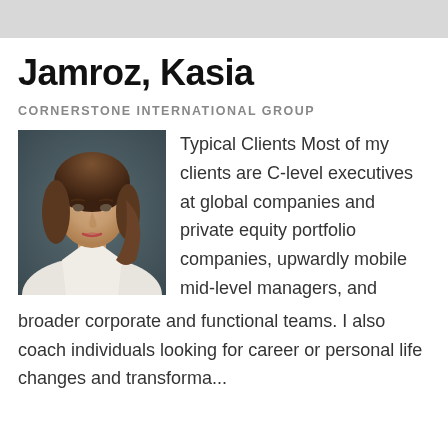Jamroz, Kasia
CORNERSTONE INTERNATIONAL GROUP
[Figure (photo): Professional headshot of Kasia Jamroz, a woman with brown hair wearing a white shirt, against a dark background]
Typical Clients Most of my clients are C-level executives at global companies and private equity portfolio companies, upwardly mobile mid-level managers, and broader corporate and functional teams. I also coach individuals looking for career or personal life changes and transformation. Result